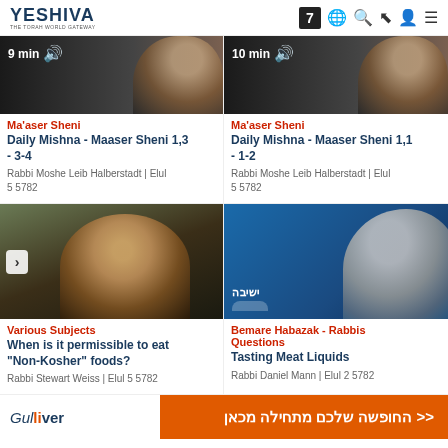YESHIVA | THE TORAH WORLD GATEWAY [navigation icons: 7, globe, search, share, user, menu]
[Figure (screenshot): Thumbnail image of rabbi, 9 min duration badge, left column top row]
Ma'aser Sheni
Daily Mishna - Maaser Sheni 1,3 - 3-4
Rabbi Moshe Leib Halberstadt | Elul 5 5782
[Figure (screenshot): Thumbnail image of rabbi, 10 min duration badge, right column top row]
Ma'aser Sheni
Daily Mishna - Maaser Sheni 1,1 - 1-2
Rabbi Moshe Leib Halberstadt | Elul 5 5782
[Figure (photo): Photo of smiling older man with grey beard indoors, with chevron left navigation arrow]
Various Subjects
When is it permissible to eat "Non-Kosher" foods?
Rabbi Stewart Weiss | Elul 5 5782
[Figure (illustration): Blue background with silhouette of rabbi profile and Yeshiva logo watermark]
Bemare Habazak - Rabbis Questions
Tasting Meat Liquids
Rabbi Daniel Mann | Elul 2 5782
[Figure (screenshot): Gulliver advertisement banner: white section with Gulliver logo, orange section with Hebrew text]